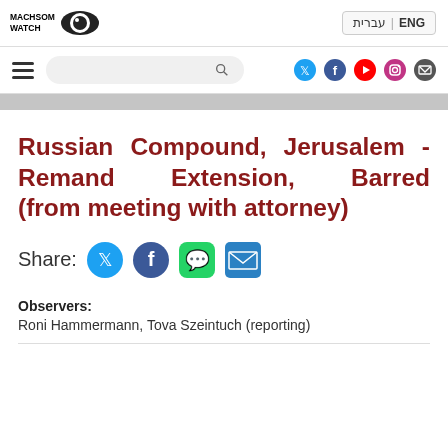MACHSOM WATCH | ENG | עברית
Russian Compound, Jerusalem - Remand Extension, Barred (from meeting with attorney)
Share:
Observers: Roni Hammermann, Tova Szeintuch (reporting)